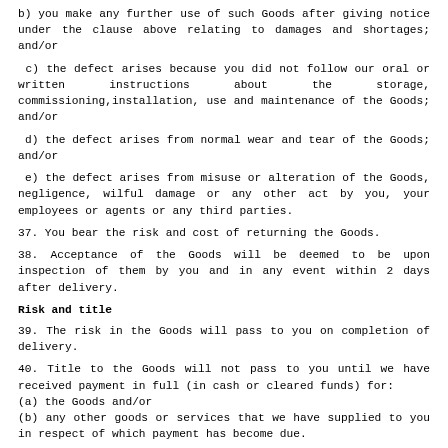b) you make any further use of such Goods after giving notice under the clause above relating to damages and shortages; and/or
c) the defect arises because you did not follow our oral or written instructions about the storage, commissioning,installation, use and maintenance of the Goods; and/or
d) the defect arises from normal wear and tear of the Goods; and/or
e) the defect arises from misuse or alteration of the Goods, negligence, wilful damage or any other act by you, your employees or agents or any third parties.
37. You bear the risk and cost of returning the Goods.
38. Acceptance of the Goods will be deemed to be upon inspection of them by you and in any event within 2 days after delivery.
Risk and title
39. The risk in the Goods will pass to you on completion of delivery.
40. Title to the Goods will not pass to you until we have received payment in full (in cash or cleared funds) for:
(a) the Goods and/or
(b) any other goods or services that we have supplied to you in respect of which payment has become due.